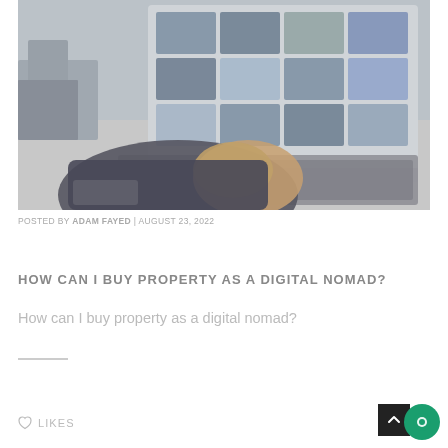[Figure (photo): Person typing on a laptop outdoors with travel/destination photos visible on the laptop screen; blurred city street background]
POSTED BY ADAM FAYED | AUGUST 23, 2022
HOW CAN I BUY PROPERTY AS A DIGITAL NOMAD?
How can I buy property as a digital nomad?
LIKES